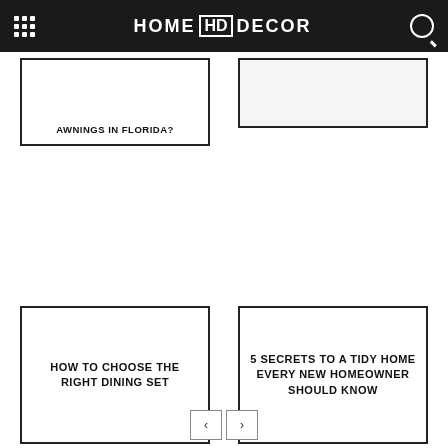HOME HD DECOR
AWNINGS IN FLORIDA?
HOW TO CHOOSE THE RIGHT DINING SET
5 SECRETS TO A TIDY HOME EVERY NEW HOMEOWNER SHOULD KNOW